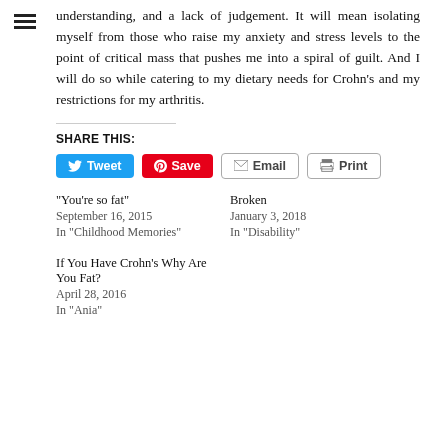understanding, and a lack of judgement. It will mean isolating myself from those who raise my anxiety and stress levels to the point of critical mass that pushes me into a spiral of guilt. And I will do so while catering to my dietary needs for Crohn's and my restrictions for my arthritis.
SHARE THIS:
[Figure (infographic): Share buttons: Tweet (blue), Save (red/Pinterest), Email (light gray), Print (light gray)]
"You're so fat"
September 16, 2015
In "Childhood Memories"
Broken
January 3, 2018
In "Disability"
If You Have Crohn's Why Are You Fat?
April 28, 2016
In "Ania"